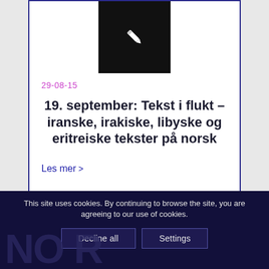[Figure (illustration): Black square image box with a white pencil/edit icon centered inside, positioned at the top center of the card]
29-08-15
19. september: Tekst i flukt – iranske, irakiske, libyske og eritreiske tekster på norsk
Les mer >
This site uses cookies. By continuing to browse the site, you are agreeing to our use of cookies.
Decline all
Settings